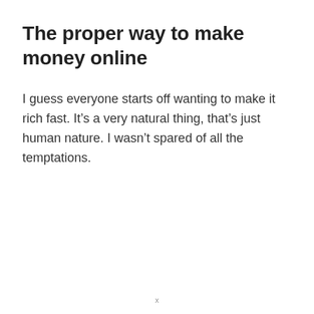The proper way to make money online
I guess everyone starts off wanting to make it rich fast. It's a very natural thing, that's just human nature. I wasn't spared of all the temptations.